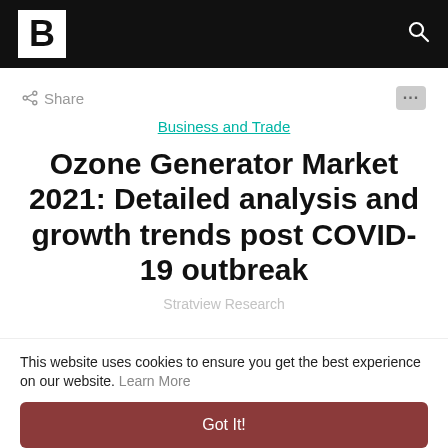B [logo] [search icon]
< Share
Business and Trade
Ozone Generator Market 2021: Detailed analysis and growth trends post COVID-19 outbreak
Stratview Research
This website uses cookies to ensure you get the best experience on our website. Learn More
Got It!